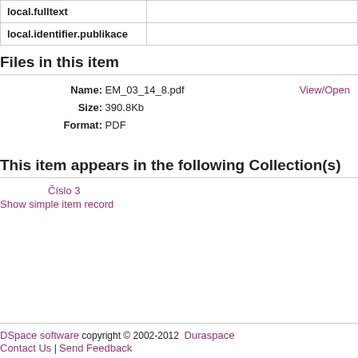| local.fulltext |  |
| local.identifier.publikace |  |
Files in this item
Name: EM_03_14_8.pdf   View/Open
Size: 390.8Kb
Format: PDF
This item appears in the following Collection(s)
Číslo 3
Show simple item record
DSpace software copyright © 2002-2012  Duraspace
Contact Us | Send Feedback